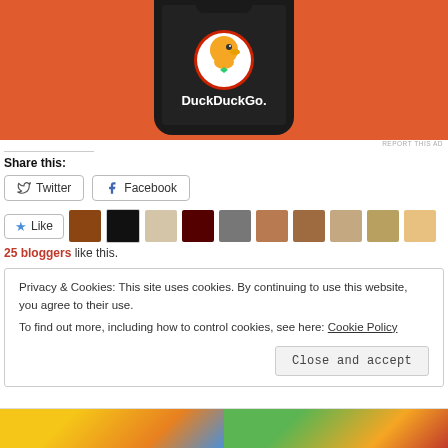[Figure (screenshot): DuckDuckGo app advertisement showing a phone with DuckDuckGo logo on an orange background]
REPORT THIS AD
Share this:
Twitter  Facebook
[Figure (infographic): Like button with star icon followed by avatar thumbnails of 9 bloggers]
25 bloggers like this.
Privacy & Cookies: This site uses cookies. By continuing to use this website, you agree to their use.
To find out more, including how to control cookies, see here: Cookie Policy
Close and accept